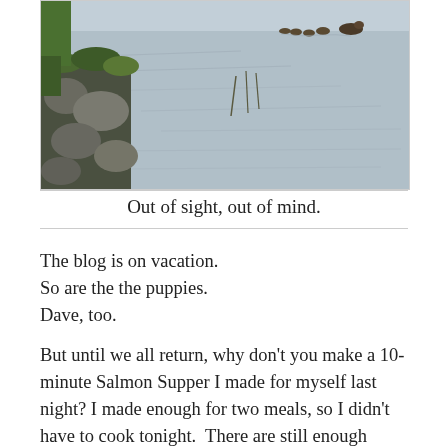[Figure (photo): A body of water (lake or pond) with ducks swimming near the top. Rocky shoreline with green mossy rocks and grass on the left side. Water surface shows gentle ripples.]
Out of sight, out of mind.
The blog is on vacation.
So are the the puppies.
Dave, too.
But until we all return, why don't you make a 10-minute Salmon Supper I made for myself last night? I made enough for two meals, so I didn't have to cook tonight.  There are still enough